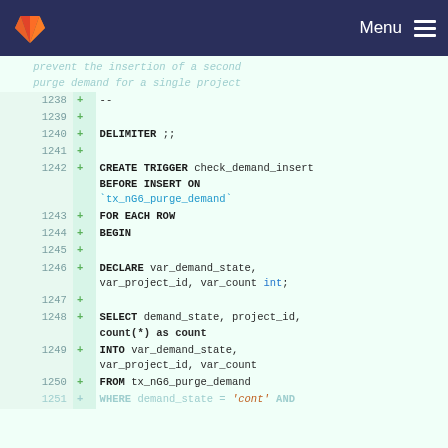Menu
prevent the insertion of a second purge demand for a single project
1238 + --
1239 +
1240 + DELIMITER ;;
1241 +
1242 + CREATE TRIGGER check_demand_insert BEFORE INSERT ON `tx_nG6_purge_demand`
1243 + FOR EACH ROW
1244 + BEGIN
1245 +
1246 + DECLARE var_demand_state, var_project_id, var_count int;
1247 +
1248 + SELECT demand_state, project_id, count(*) as count
1249 + INTO var_demand_state, var_project_id, var_count
1250 + FROM tx_nG6_purge_demand
1251 + WHERE demand_state = 'cont' AND